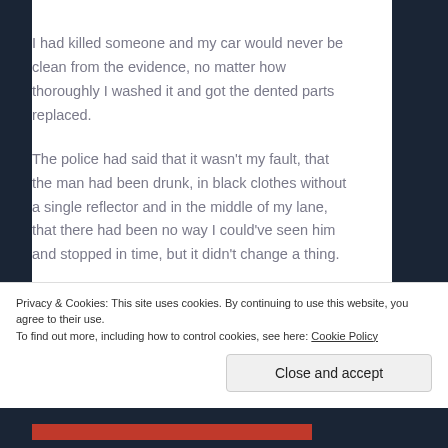I had killed someone and my car would never be clean from the evidence, no matter how thoroughly I washed it and got the dented parts replaced.
The police had said that it wasn't my fault, that the man had been drunk, in black clothes without a single reflector and in the middle of my lane, that there had been no way I could've seen him and stopped in time, but it didn't change a thing.
Privacy & Cookies: This site uses cookies. By continuing to use this website, you agree to their use.
To find out more, including how to control cookies, see here: Cookie Policy